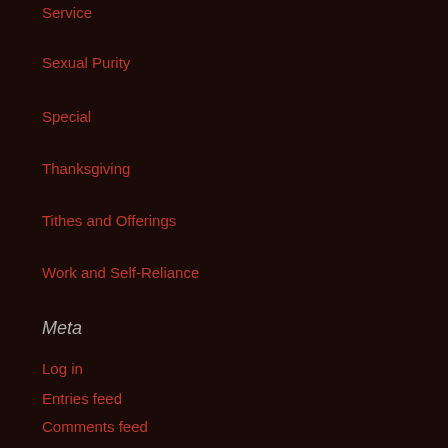Service
Sexual Purity
Special
Thanksgiving
Tithes and Offerings
Work and Self-Reliance
Meta
Log in
Entries feed
Comments feed
WordPress.org